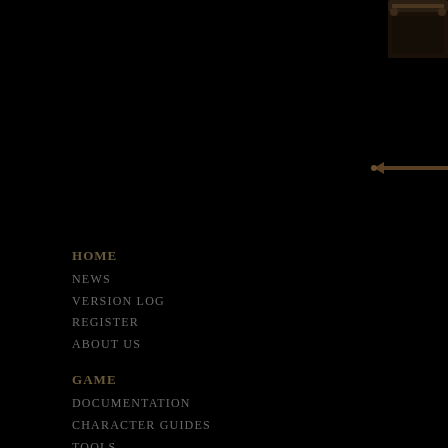[Figure (illustration): Dark fantasy game UI decorative top bar/frame element at top right, metallic brown texture]
[Figure (illustration): Arrow pointing left, dark bronze/brown color, UI navigation element]
HOME
NEWS
VERSION LOG
REGISTER
ABOUT US
GAME
DOCUMENTATION
CHARACTER GUIDES
TOOLS
COMMUNITY
FORUMS
DISCORD CHAT
TRADE CENTER
MULTIPLAYER
JOIN